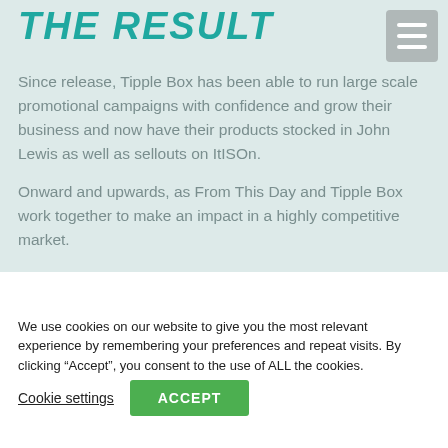THE RESULT
Since release, Tipple Box has been able to run large scale promotional campaigns with confidence and grow their business and now have their products stocked in John Lewis as well as sellouts on ItISOn.
Onward and upwards, as From This Day and Tipple Box work together to make an impact in a highly competitive market.
We use cookies on our website to give you the most relevant experience by remembering your preferences and repeat visits. By clicking “Accept”, you consent to the use of ALL the cookies.
Cookie settings
ACCEPT